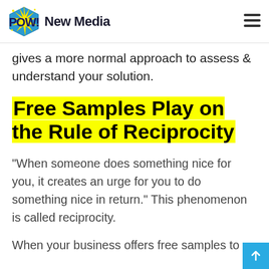POW! New Media
gives a more normal approach to assess & understand your solution.
Free Samples Play on the Rule of Reciprocity
“When someone does something nice for you, it creates an urge for you to do something nice in return.” This phenomenon is called reciprocity.
When your business offers free samples to